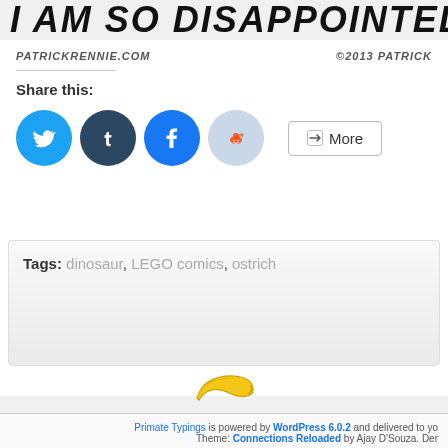I AM SO DISAPPOINTED IN YOU.
PATRICKRENNIE.COM   ©2013 PATRICK
Share this:
[Figure (infographic): Social share buttons: Twitter (cyan circle), Tumblr (dark blue circle), Facebook (blue circle), Reddit (light blue circle), and a More button]
Tags: dinosaur, LEGO comics, ostrich
[Figure (illustration): Small yellow banana emoji/illustration centered on the page]
Primate Typings is powered by WordPress 6.0.2 and delivered to yo... Theme: Connections Reloaded by Ajay D'Souza. Der...